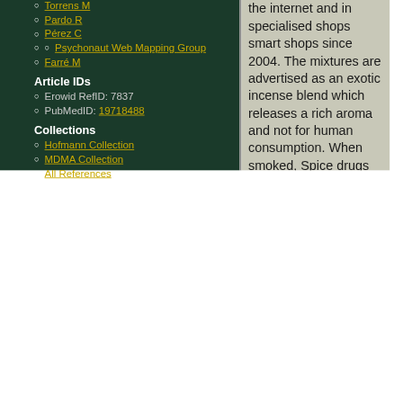Torrens M
Pardo R
Pérez C
Psychonaut Web Mapping Group
Farré M
Article IDs
Erowid RefID: 7837
PubMedID: 19718488
Collections
Hofmann Collection
MDMA Collection
All References
the internet and in specialised shops smart shops since 2004. The mixtures are advertised as an exotic incense blend which releases a rich aroma and not for human consumption. When smoked, Spice drugs products have been reported by products have been reported by some users to have effects similar to those of cannabis. Spice drugs have received intensive attention in drug forums due to the possibility to obtain a non legal substitute of